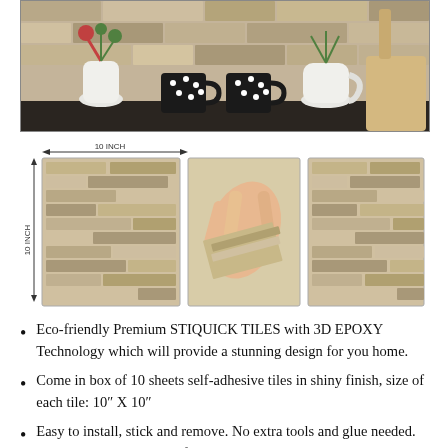[Figure (photo): Kitchen backsplash with stone tiles, white vases with flowers, black and white polka dot mugs, and a wooden cutting board with bear design]
[Figure (photo): Three images of peel-and-stick mosaic tiles with 10 INCH x 10 INCH dimension labels. Left shows flat tile sheet, center shows hand peeling backing off tile, right shows installed tile sheet.]
Eco-friendly Premium STIQUICK TILES with 3D EPOXY Technology which will provide a stunning design for you home.
Come in box of 10 sheets self-adhesive tiles in shiny finish, size of each tile: 10″ X 10″
Easy to install, stick and remove. No extra tools and glue needed. Easy to clean! Waterproof